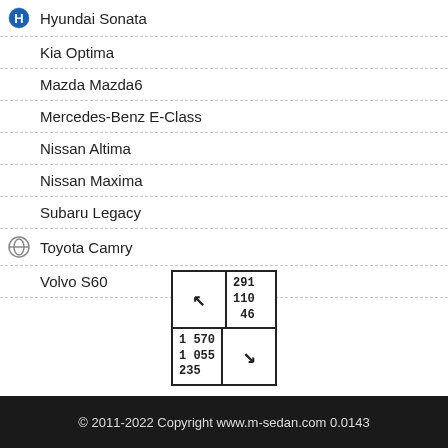Hyundai Sonata
Kia Optima
Mazda Mazda6
Mercedes-Benz E-Class
Nissan Altima
Nissan Maxima
Subaru Legacy
Toyota Camry
Volvo S60
[Figure (other): Navigation widget showing two panels: top-left arrow with numbers 291, 110, 46; bottom-right arrow with numbers 1 570, 1 055, 235]
© 2011-2022 Copyright www.m-sedan.com 0.0143